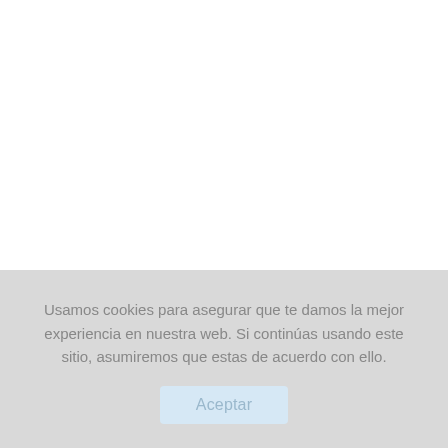Usamos cookies para asegurar que te damos la mejor experiencia en nuestra web. Si continúas usando este sitio, asumiremos que estas de acuerdo con ello.
Aceptar